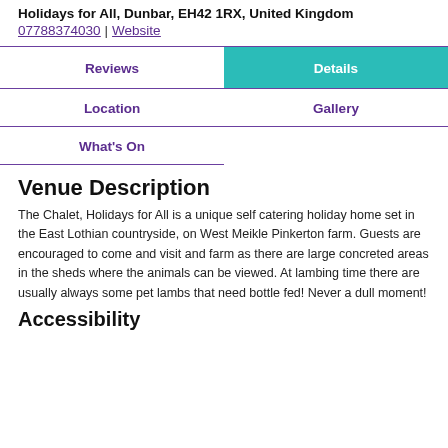Holidays for All, Dunbar, EH42 1RX, United Kingdom
07788374030 | Website
Reviews
Details
Location
Gallery
What's On
Venue Description
The Chalet, Holidays for All is a unique self catering holiday home set in the East Lothian countryside, on West Meikle Pinkerton farm. Guests are encouraged to come and visit and farm as there are large concreted areas in the sheds where the animals can be viewed. At lambing time there are usually always some pet lambs that need bottle fed! Never a dull moment!
Accessibility